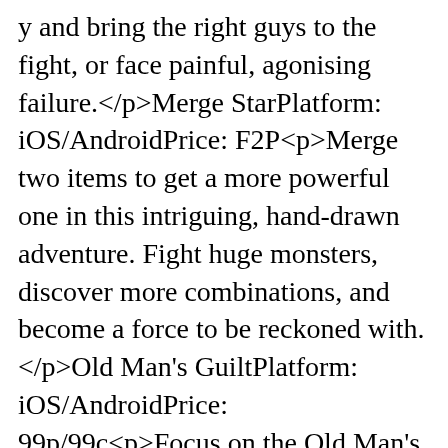y and bring the right guys to the fight, or face painful, agonising failure.</p>Merge StarPlatform: iOS/AndroidPrice: F2P<p>Merge two items to get a more powerful one in this intriguing, hand-drawn adventure. Fight huge monsters, discover more combinations, and become a force to be reckoned with.</p>Old Man's GuiltPlatform: iOS/AndroidPrice: 99p/99c<p>Focus on the Old Man's story in this simple puzzle platformer, work your way through an unknown island, avoid traps and obstacles, and discover the real reason behind why the man had to be there.</p>OVIVOPlatform: iOSPrice: £1.99/$1.99<p>This mesmerising platformer may be black and white, but there's much more to it than that. Overcome dangers and collect strange symbols as you unwravel the world around you.</p>SwordArtOnline: IntegralFactorPlatform: iOS/AndroidPrice: F2P<p>Take your place beside members of an Assault Team, meet familiar faces from previous games, and reach the 100th floor of the Aincrad in this tricky online RPG.</p>UmiroPlatform: iOS/AndroidPrice: £2.99/$2.99<p>Help guide two schoolmates, Huey and Satura, through bizarre sol